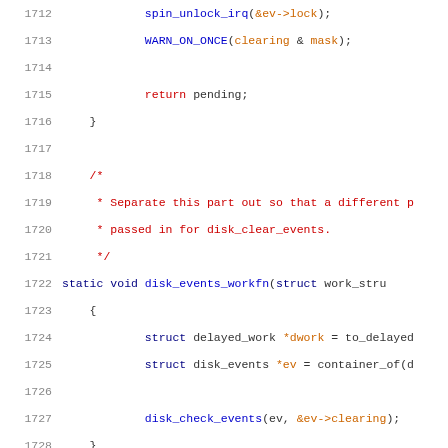[Figure (screenshot): Source code listing showing C kernel code for disk events, lines 1712-1733, with syntax highlighting. Functions include spin_unlock_irq, WARN_ON_ONCE, disk_events_workfn, disk_check_events. Comments in red, keywords in dark blue, function calls in blue/orange.]